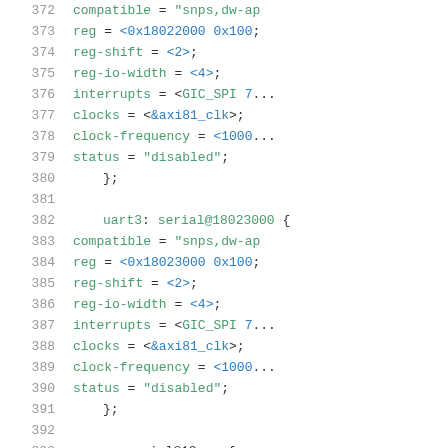Source code listing lines 372-393, device tree configuration for uart2 and uart3 serial ports
372: compatible = "snps,dw-ap
373: reg = <0x18022000 0x100>
374: reg-shift = <2>;
375: reg-io-width = <4>;
376: interrupts = <GIC_SPI 7...
377: clocks = <&axi81_clk>;
378: clock-frequency = <1000...
379: status = "disabled";
380: };
381: (blank)
382: uart3: serial@18023000 {
383: compatible = "snps,dw-ap
384: reg = <0x18023000 0x100>
385: reg-shift = <2>;
386: reg-io-width = <4>;
387: interrupts = <GIC_SPI 7...
388: clocks = <&axi81_clk>;
389: clock-frequency = <1000...
390: status = "disabled";
391: };
392: (blank)
393: (partial line)